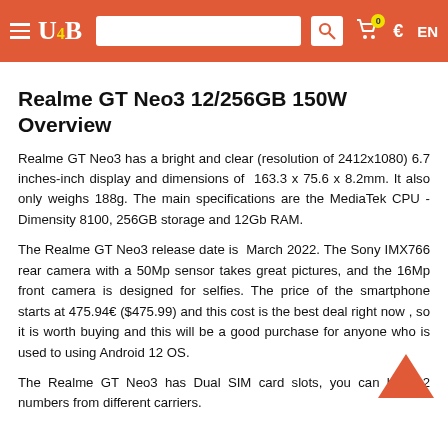≡ U4B [search] 🛒0 € EN
Realme GT Neo3 12/256GB 150W Overview
Realme GT Neo3 has a bright and clear (resolution of 2412x1080) 6.7 inches-inch display and dimensions of  163.3 x 75.6 x 8.2mm. It also only weighs 188g. The main specifications are the MediaTek CPU - Dimensity 8100, 256GB storage and 12Gb RAM.
The Realme GT Neo3 release date is  March 2022. The Sony IMX766 rear camera with a 50Mp sensor takes great pictures, and the 16Mp front camera is designed for selfies. The price of the smartphone starts at 475.94€ ($475.99) and this cost is the best deal right now , so it is worth buying and this will be a good purchase for anyone who is used to using Android 12 OS.
The Realme GT Neo3 has Dual SIM card slots, you can have 2 numbers from different carriers.